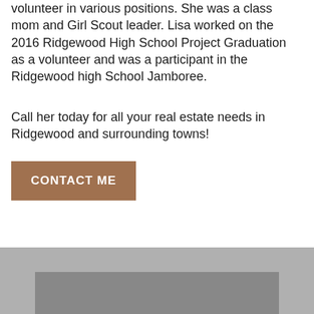volunteer in various positions. She was a class mom and Girl Scout leader. Lisa worked on the 2016 Ridgewood High School Project Graduation as a volunteer and was a participant in the Ridgewood high School Jamboree.
Call her today for all your real estate needs in Ridgewood and surrounding towns!
CONTACT ME
[Figure (other): Gray footer bar with a darker gray rectangular image/photo area partially visible at the bottom of the page]